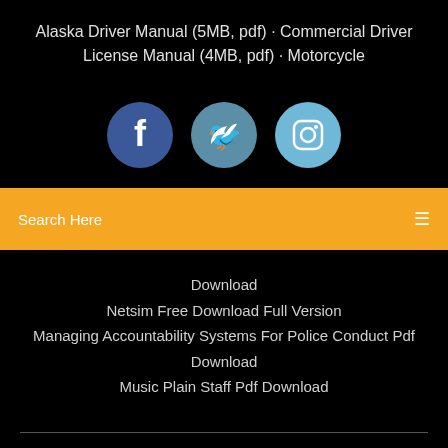Alaska Driver Manual (5MB, pdf) · Commercial Driver License Manual (4MB, pdf) · Motorcycle
[Figure (illustration): Three social media icon circles: Facebook (dark blue), Twitter (medium blue), Instagram (light blue)]
Search Here
Download
Netsim Free Download Full Version
Managing Accountability Systems For Police Conduct Pdf Download
Music Plain Staff Pdf Download
Copyright ©2022 All rights reserved